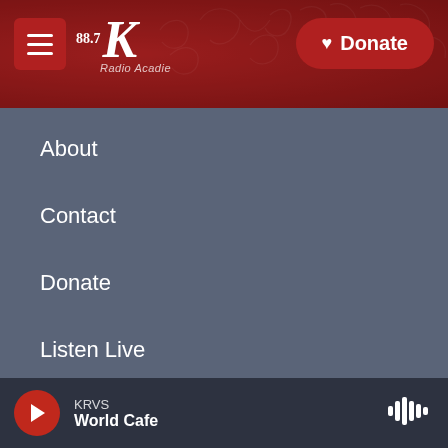[Figure (screenshot): KRVS 88.7 radio station header with red floral background, hamburger menu button on left, Donate button on right]
About
Contact
Donate
Listen Live
Sign up for our E-Newsletter
[Figure (logo): University of Louisiana Lafayette logo, NPR logo, PRX logo in black footer bar]
KRVS World Cafe — player bar with play button and waveform icon